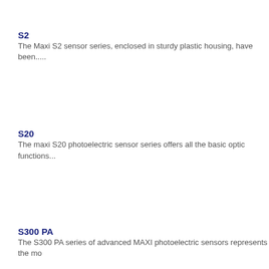S2
The Maxi S2 sensor series, enclosed in sturdy plastic housing, have been.....
S20
The maxi S20 photoelectric sensor series offers all the basic optic functions...
S300 PA
The S300 PA series of advanced MAXI photoelectric sensors represents the mo